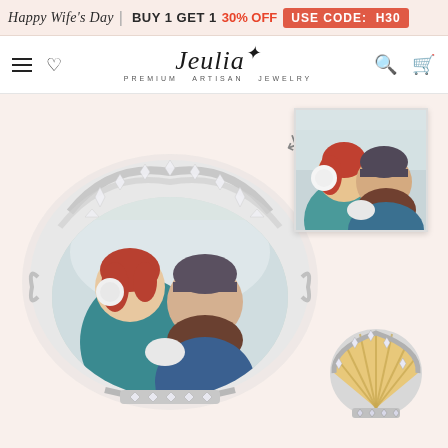Happy Wife's Day | BUY 1 GET 1 30% OFF USE CODE: H30
[Figure (logo): Jeulia Premium Artisan Jewelry logo with navigation icons (hamburger menu, heart, search, cart)]
[Figure (photo): Product photo showing a silver seashell-shaped charm/locket with a custom photo of a couple (red-haired woman and man in winter hats embracing) set into the shell, plus a smaller reference photo of the couple and a separate small seashell charm view showing gold and silver enamel shell design with crystals]